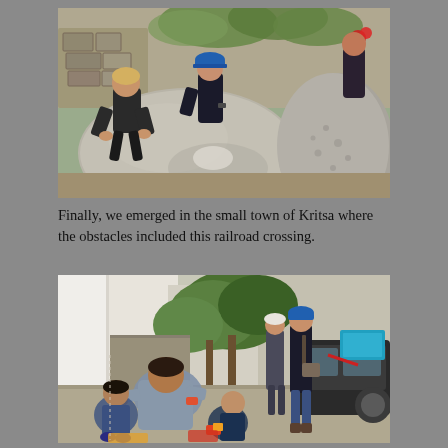[Figure (photo): Two people crouching and climbing over large boulders/rocks in an outdoor setting. One person wears a blue cap and dark clothing, examining rocks. Stone walls and red flowers visible in background.]
Finally, we emerged in the small town of Kritsa where the obstacles included this railroad crossing.
[Figure (photo): Street scene in a small Greek town. A woman and two young children sit on the ground in the foreground playing. In the background, two tourists (a man and woman) walk down a narrow street past buildings, trees, and a parked car with a blue crate on the back.]